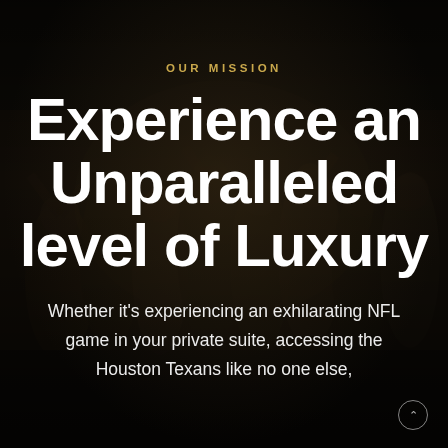OUR MISSION
Experience an Unparalleled level of Luxury
Whether it's experiencing an exhilarating NFL game in your private suite, accessing the Houston Texans like no one else,
[Figure (photo): Dark background photo of a crowd of people at a sports event or party, dimly lit, with people cheering and socializing. The image is overlaid with dark semi-transparent overlay.]